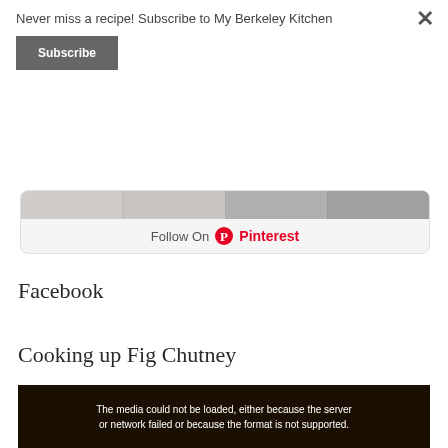Never miss a recipe! Subscribe to My Berkeley Kitchen
Subscribe
[Figure (screenshot): Pinterest widget showing image strip and Follow On Pinterest button]
Facebook
Cooking up Fig Chutney
[Figure (screenshot): Dark video player with error message: The media could not be loaded, either because the server or network failed or because the format is not supported.]